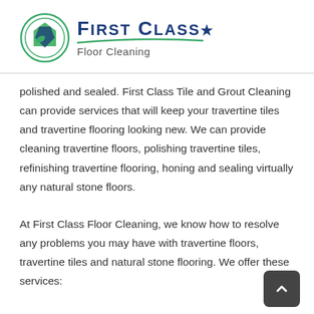[Figure (logo): First Class Floor Cleaning logo: circular icon with house/diamond shapes in green and blue, next to bold navy 'FIRST CLASS' text with a star, green swoosh underline, and 'Floor Cleaning' subtitle.]
polished and sealed. First Class Tile and Grout Cleaning can provide services that will keep your travertine tiles and travertine flooring looking new. We can provide cleaning travertine floors, polishing travertine tiles, refinishing travertine flooring, honing and sealing virtually any natural stone floors.
At First Class Floor Cleaning, we know how to resolve any problems you may have with travertine floors, travertine tiles and natural stone flooring. We offer these services: